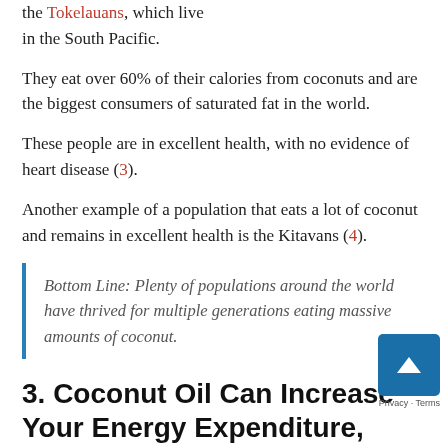the Tokelauans, which live in the South Pacific.
They eat over 60% of their calories from coconuts and are the biggest consumers of saturated fat in the world.
These people are in excellent health, with no evidence of heart disease (3).
Another example of a population that eats a lot of coconut and remains in excellent health is the Kitavans (4).
Bottom Line: Plenty of populations around the world have thrived for multiple generations eating massive amounts of coconut.
3. Coconut Oil Can Increase Your Energy Expenditure, Helping You Burn More Fat